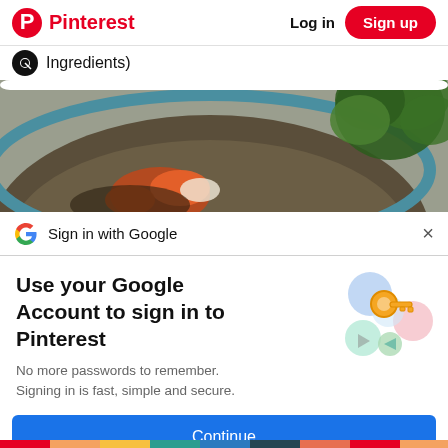Pinterest  Log in  Sign up
Ingredients)
[Figure (photo): Close-up photo of a dark ceramic bowl with food garnished with herbs (parsley) and what appears to be a seafood dish with orange/red garnishes. Shot from above-left angle.]
Sign in with Google
Use your Google Account to sign in to Pinterest
No more passwords to remember. Signing in is fast, simple and secure.
[Figure (illustration): Google account key illustration showing colorful circles with a golden key icon in the center]
Continue